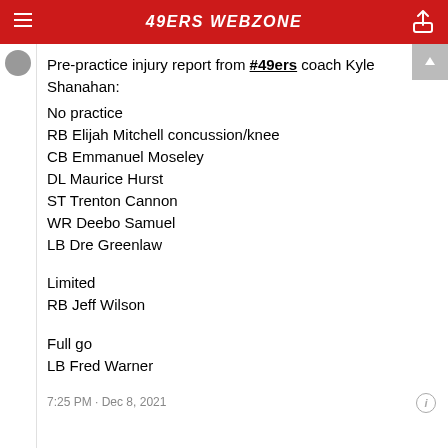49ERS WEBZONE
Pre-practice injury report from #49ers coach Kyle Shanahan:
No practice
RB Elijah Mitchell concussion/knee
CB Emmanuel Moseley
DL Maurice Hurst
ST Trenton Cannon
WR Deebo Samuel
LB Dre Greenlaw
Limited
RB Jeff Wilson
Full go
LB Fred Warner
7:25 PM · Dec 8, 2021